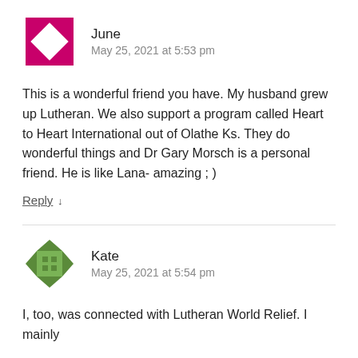[Figure (illustration): Pink/magenta geometric avatar icon with square pattern]
June
May 25, 2021 at 5:53 pm
This is a wonderful friend you have. My husband grew up Lutheran. We also support a program called Heart to Heart International out of Olathe Ks. They do wonderful things and Dr Gary Morsch is a personal friend. He is like Lana- amazing ; )
Reply ↓
[Figure (illustration): Green geometric star/pinwheel avatar icon]
Kate
May 25, 2021 at 5:54 pm
I, too, was connected with Lutheran World Relief. I mainly